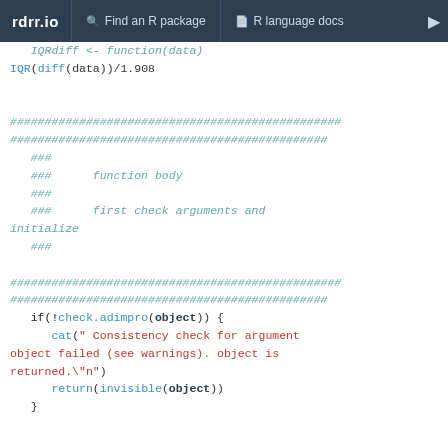rdrr.io   Find an R package   R language docs
IQRdiff <- function(data)
IQR(diff(data))/1.908

################################################
##############################################
   ###
   ###      function body
   ###
   ###      first check arguments and initialize
   ###

################################################
##############################################
   if(!check.adimpro(object)) {
      cat(" Consistency check for argument object failed (see warnings). object is returned.\"n")
      return(invisible(object))
   }